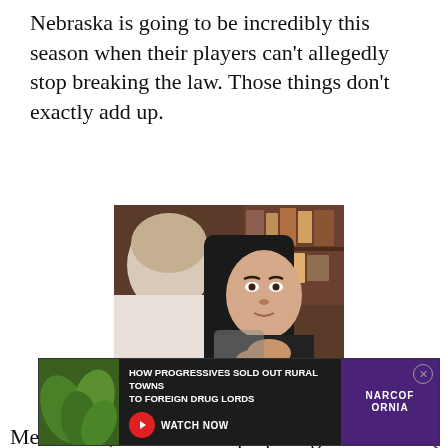Nebraska is going to be incredibly this season when their players can't allegedly stop breaking the law. Those things don't exactly add up.
[Figure (photo): TV show screencap showing a woman with dark hair gesturing with her hands across from a man in a white shirt, with subtitle text 'You don't add up.']
Meanwhile, Wisconsin is preparing to win a B1...
title. You don't see nonstop issues with our players... humble...
[Figure (other): Advertisement: HOW PROGRESSIVES SOLD OUT RURAL TOWNS TO FOREIGN DRUG LORDS - NARCOFORNIA - WATCH NOW]